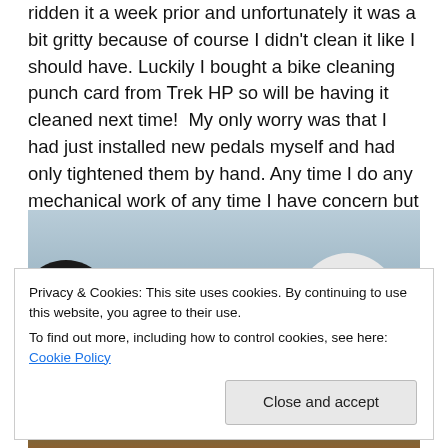ridden it a week prior and unfortunately it was a bit gritty because of course I didn't clean it like I should have. Luckily I bought a bike cleaning punch card from Trek HP so will be having it cleaned next time!  My only worry was that I had just installed new pedals myself and had only tightened them by hand. Any time I do any mechanical work of any time I have concern but I had ridden it to work during the week and the pedals seemed ok.
[Figure (photo): Photo showing cycling helmets with a blurred outdoor background. A cookie consent banner overlays the lower portion.]
Privacy & Cookies: This site uses cookies. By continuing to use this website, you agree to their use.
To find out more, including how to control cookies, see here: Cookie Policy
Close and accept